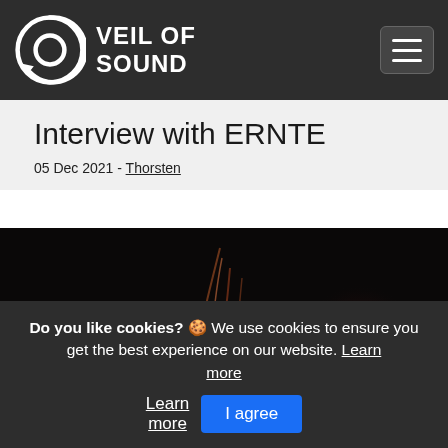VEIL OF SOUND
Interview with ERNTE
05 Dec 2021 - Thorsten
[Figure (photo): Dark photo showing two figures against black background: one with long hair lit from below with orange/red fire-like light on the left, and another person with face partially visible on the right side.]
Do you like cookies? 🍪 We use cookies to ensure you get the best experience on our website. Learn more  I agree